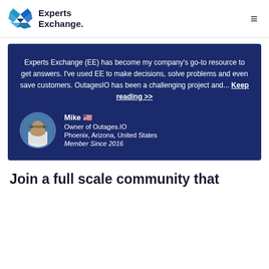Experts Exchange.
Experts Exchange (EE) has become my company's go-to resource to get answers. I've used EE to make decisions, solve problems and even save customers. OutagesIO has been a challenging project and... Keep reading >>
Mike 🇺🇸
Owner of Outages.IO
Phoenix, Arizona, United States
Member Since 2016
Join a full scale community that